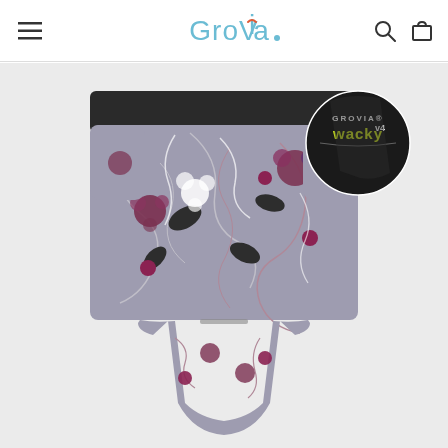GroVia navigation bar with hamburger menu, logo, search and cart icons
[Figure (photo): Product photo of a GroVia cloth diaper in a floral print pattern with grey background, purple/maroon flowers and swirling vines. A circular inset in the upper right shows a close-up of the GROVIA WACKY v4 label tag on the black waistband. The diaper is shown from the back/front view folded flat.]